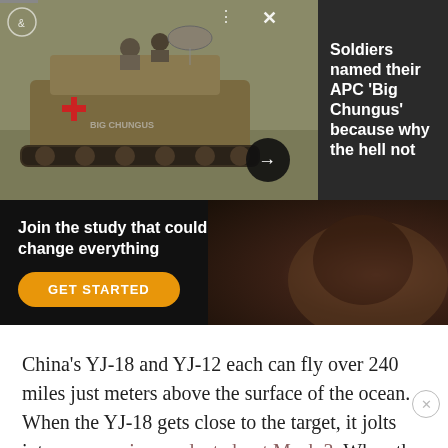[Figure (photo): Military APC (Armored Personnel Carrier) on a field, with soldiers on top. Vehicle has a red cross symbol. Dark panel overlay on right with headline text.]
Soldiers named their APC 'Big Chungus' because why the hell not
[Figure (photo): Advertisement banner with dark background showing a face on the right. Text: 'Join the study that could change everything' with orange 'GET STARTED' button.]
China's YJ-18 and YJ-12 each can fly over 240 miles just meters above the surface of the ocean. When the YJ-18 gets close to the target, it jolts into supersonic speed, at about Mach 3. When the YJ-12, also supersonic, approaches a target, it executes a corkscrew turn to evade close-in ship defenses